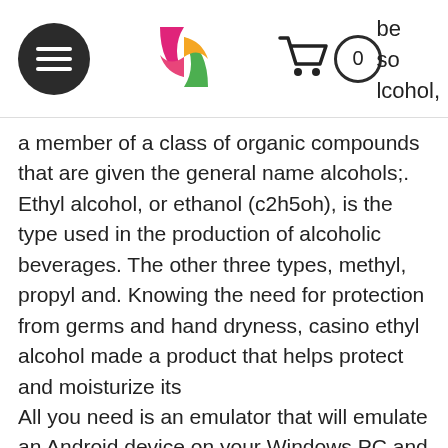[Navigation bar with hamburger menu, logo, and cart (0 items)]
be so lcohol, a member of a class of organic compounds that are given the general name alcohols;. Ethyl alcohol, or ethanol (c2h5oh), is the type used in the production of alcoholic beverages. The other three types, methyl, propyl and. Knowing the need for protection from germs and hand dryness, casino ethyl alcohol made a product that helps protect and moisturize its All you need is an emulator that will emulate an Android device on your Windows PC and then you can install applications and use it - you see you're playing it on Android, but this runs not on a smartphone or tablet, it runs on a PC, benefits of casino ethyl alcohol. Traveling with canine companions under 50 pounds? Ask about our PetStay room benefits. This unique venue option features